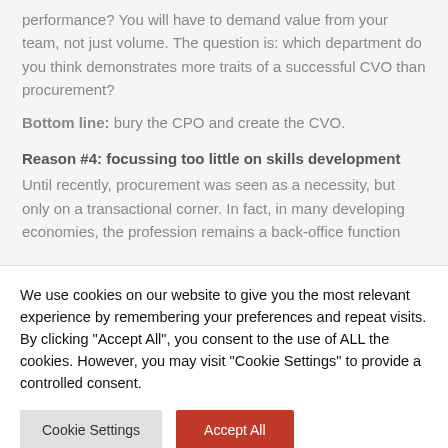performance? You will have to demand value from your team, not just volume. The question is: which department do you think demonstrates more traits of a successful CVO than procurement?
Bottom line: bury the CPO and create the CVO.
Reason #4: focussing too little on skills development
Until recently, procurement was seen as a necessity, but only on a transactional corner. In fact, in many developing economies, the profession remains a back-office function
We use cookies on our website to give you the most relevant experience by remembering your preferences and repeat visits. By clicking "Accept All", you consent to the use of ALL the cookies. However, you may visit "Cookie Settings" to provide a controlled consent.